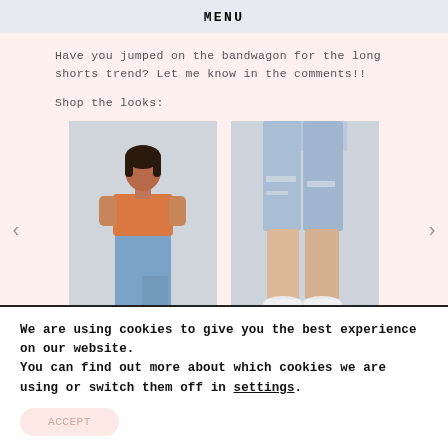MENU
Have you jumped on the bandwagon for the long shorts trend? Let me know in the comments!!
Shop the looks:
[Figure (photo): Carousel of two product images: left shows a woman in an orange t-shirt and blue jeans; right shows close-up of ripped denim bermuda shorts with white sneakers. Navigation arrows on both sides.]
We are using cookies to give you the best experience on our website.
You can find out more about which cookies we are using or switch them off in settings.